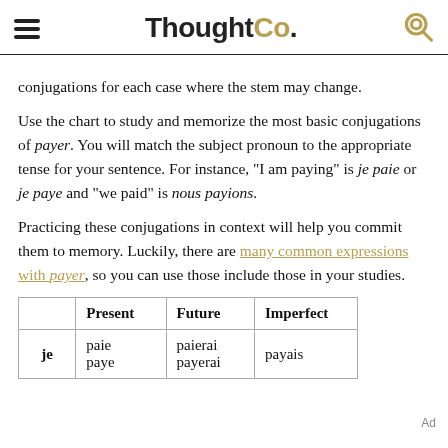ThoughtCo.
conjugations for each case where the stem may change.
Use the chart to study and memorize the most basic conjugations of payer. You will match the subject pronoun to the appropriate tense for your sentence. For instance, "I am paying" is je paie or je paye and "we paid" is nous payions.
Practicing these conjugations in context will help you commit them to memory. Luckily, there are many common expressions with payer, so you can use those include those in your studies.
|  | Present | Future | Imperfect |
| --- | --- | --- | --- |
| je | paie
paye | paierai
payerai | payais |